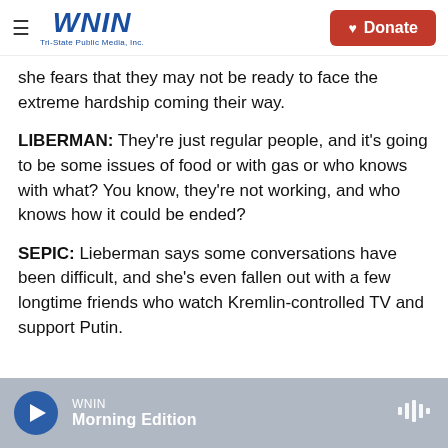WNIN Tri-State Public Media, Inc. — Donate
she fears that they may not be ready to face the extreme hardship coming their way.
LIBERMAN: They're just regular people, and it's going to be some issues of food or with gas or who knows with what? You know, they're not working, and who knows how it could be ended?
SEPIC: Lieberman says some conversations have been difficult, and she's even fallen out with a few longtime friends who watch Kremlin-controlled TV and support Putin.
WNIN Morning Edition